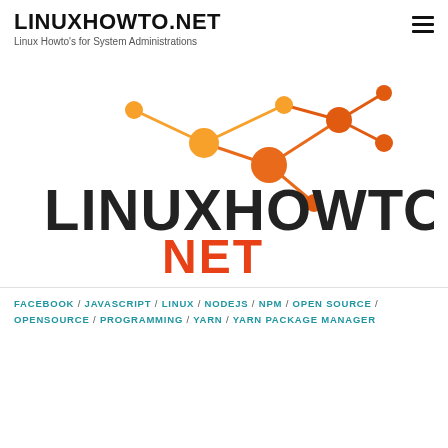LINUXHOWTO.NET
Linux Howto's for System Administrations
[Figure (logo): LINUXHOWTO.NET logo with orange network graph nodes and lines above bold dark text 'LINUXHOWTO' and red text 'NET']
FACEBOOK / JAVASCRIPT / LINUX / NODEJS / NPM / OPEN SOURCE / OPENSOURCE / PROGRAMMING / YARN / YARN PACKAGE MANAGER